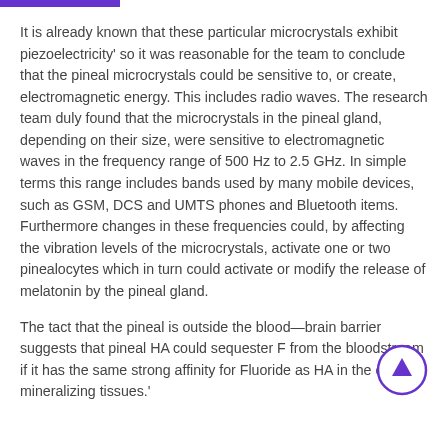It is already known that these particular microcrystals exhibit piezoelectricity' so it was reasonable for the team to conclude that the pineal microcrystals could be sensitive to, or create, electromagnetic energy. This includes radio waves. The research team duly found that the microcrystals in the pineal gland, depending on their size, were sensitive to electromagnetic waves in the frequency range of 500 Hz to 2.5 GHz. In simple terms this range includes bands used by many mobile devices, such as GSM, DCS and UMTS phones and Bluetooth items. Furthermore changes in these frequencies could, by affecting the vibration levels of the microcrystals, activate one or two pinealocytes which in turn could activate or modify the release of melatonin by the pineal gland.
The tact that the pineal is outside the blood—brain barrier suggests that pineal HA could sequester F from the bloodstream if it has the same strong affinity for Fluoride as HA in the other mineralizing tissues.'